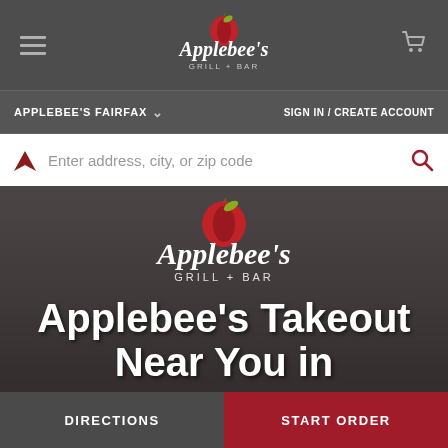[Figure (screenshot): Applebee's website screenshot showing navigation with hamburger menu, Applebee's Grill + Bar logo centered, and cart icon on dark gray top bar]
APPLEBEE'S FAIRFAX
SIGN IN / CREATE ACCOUNT
Enter address, city, or zip code
[Figure (logo): Applebee's Grill + Bar logo with red apple on hero image background]
Applebee's Takeout
Near You in
DIRECTIONS
START ORDER